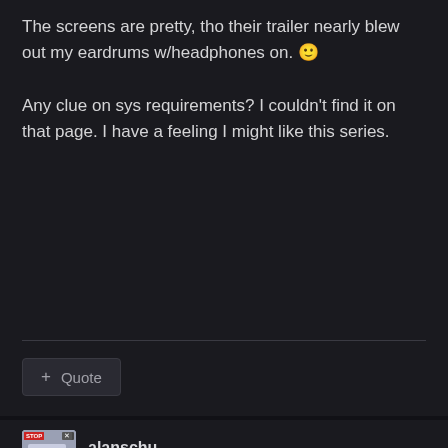The screens are pretty, tho their trailer nearly blew out my eardrums w/headphones on. 🙂
Any clue on sys requirements? I couldn't find it on that page. I have a feeling I might like this series.
+ Quote
alanschu
Posted February 17, 2007
I couldn't find anything for requirements. I imagine this probably means that the March 15th release date I saw at IGN may not be appropriate anymore 🙂"